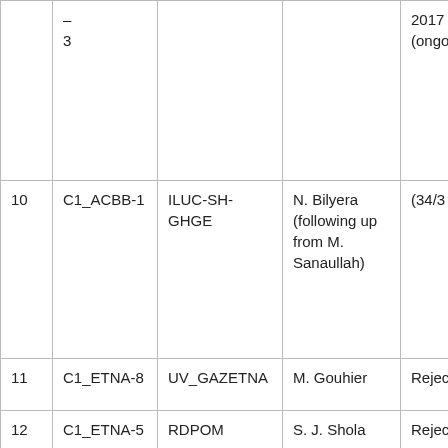|  |  |  |  |  |
| --- | --- | --- | --- | --- |
|  | – 3 |  |  | 2017 (ongo... |
| 10 | C1_ACBB-1 | ILUC-SH-GHGE | N. Bilyera (following up from M. Sanaullah) | (34/3... |
| 11 | C1_ETNA-8 | UV_GAZETNA | M. Gouhier | Rejec... |
| 12 | C1_ETNA-5 | RDPOM | S. J. Shola | Rejec... |